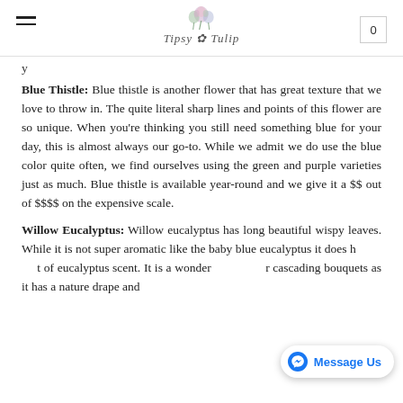Tipsy Tulip Studio
Blue Thistle: Blue thistle is another flower that has great texture that we love to throw in. The quite literal sharp lines and points of this flower are so unique. When you're thinking you still need something blue for your day, this is almost always our go-to. While we admit we do use the blue color quite often, we find ourselves using the green and purple varieties just as much. Blue thistle is available year-round and we give it a $$ out of $$$$ on the expensive scale.
Willow Eucalyptus: Willow eucalyptus has long beautiful wispy leaves. While it is not super aromatic like the baby blue eucalyptus it does have a hint of eucalyptus scent. It is a wonderful for cascading bouquets as it has a nature drape and